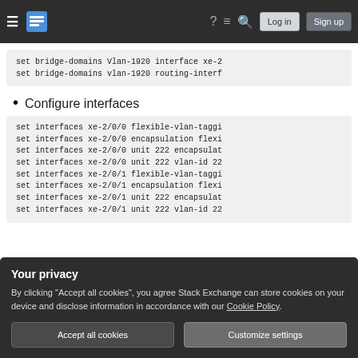Stack Exchange navigation bar with hamburger menu, logo, help, chat, search, Log in, Sign up
set bridge-domains Vlan-1920 interface xe-2
set bridge-domains vlan-1920 routing-interf
Configure interfaces
set interfaces xe-2/0/0 flexible-vlan-taggi
set interfaces xe-2/0/0 encapsulation flexi
set interfaces xe-2/0/0 unit 222 encapsulat
set interfaces xe-2/0/0 unit 222 vlan-id 22
set interfaces xe-2/0/1 flexible-vlan-taggi
set interfaces xe-2/0/1 encapsulation flexi
set interfaces xe-2/0/1 unit 222 encapsulat
set interfaces xe-2/0/1 unit 222 vlan-id 22
Your privacy
By clicking "Accept all cookies", you agree Stack Exchange can store cookies on your device and disclose information in accordance with our Cookie Policy.
Accept all cookies  Customize settings